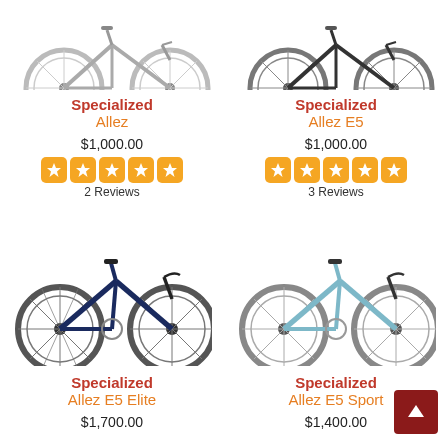[Figure (photo): Specialized Allez road bike, top portion visible, grey/silver color]
Specialized
Allez
$1,000.00
2 Reviews
[Figure (photo): Specialized Allez E5 road bike, top portion visible, dark color]
Specialized
Allez E5
$1,000.00
3 Reviews
[Figure (photo): Specialized Allez E5 Elite road bike, navy/dark blue color, full side view]
Specialized
Allez E5 Elite
$1,700.00
[Figure (photo): Specialized Allez E5 Sport road bike, light blue color, full side view]
Specialized
Allez E5 Sport
$1,400.00